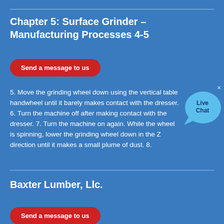Chapter 5: Surface Grinder – Manufacturing Processes 4-5
Send a message to us
5. Move the grinding wheel down using the vertical table handwheel until it barely makes contact with the dresser. 6. Turn the machine off after making contact with the dresser. 7. Turn the machine on again. While the wheel is spinning, lower the grinding wheel down in the Z direction until it makes a small plume of dust. 8.
Baxter Lumber, Llc.
Send a message to us